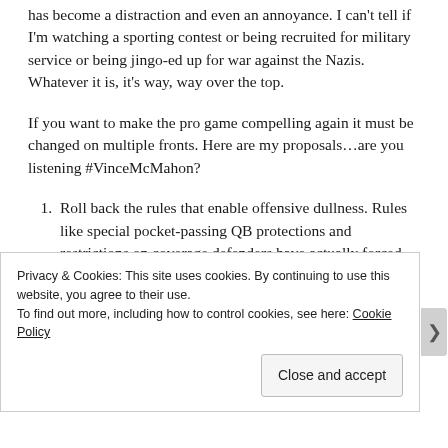has become a distraction and even an annoyance. I can't tell if I'm watching a sporting contest or being recruited for military service or being jingo-ed up for war against the Nazis. Whatever it is, it's way, way over the top.
If you want to make the pro game compelling again it must be changed on multiple fronts. Here are my proposals…are you listening #VinceMcMahon?
Roll back the rules that enable offensive dullness. Rules like special pocket-passing QB protections and restrictions on coverage defenders have actually forced the game into its current, one-dimensional,
Privacy & Cookies: This site uses cookies. By continuing to use this website, you agree to their use. To find out more, including how to control cookies, see here: Cookie Policy
Close and accept